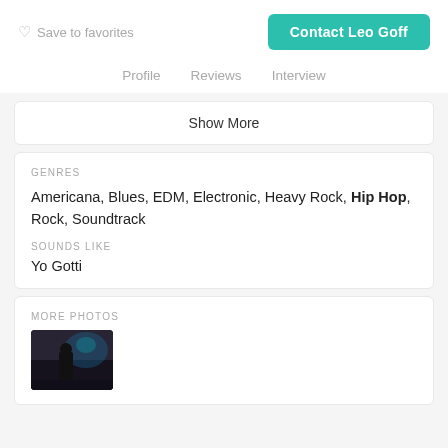Save to favorites
Contact Leo Goff
Profile   Reviews   Interview
Show More
GENRES
Americana, Blues, EDM, Electronic, Heavy Rock, Hip Hop, Rock, Soundtrack
SOUNDS LIKE
Yo Gotti
MORE PHOTOS
[Figure (photo): Dark indoor photo thumbnail, appears to show a person in a dimly lit venue with blue lighting]